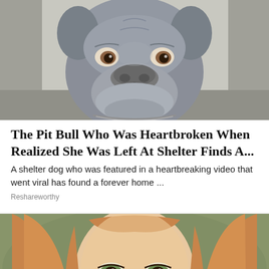[Figure (photo): Close-up photo of a gray pit bull dog looking at camera with sad expression, wearing a chain collar]
The Pit Bull Who Was Heartbroken When Realized She Was Left At Shelter Finds A...
A shelter dog who was featured in a heartbreaking video that went viral has found a forever home ...
Reshareworthy
[Figure (photo): Close-up photo of a young woman with long reddish-blonde hair looking upward, green eyes, blurred green background]